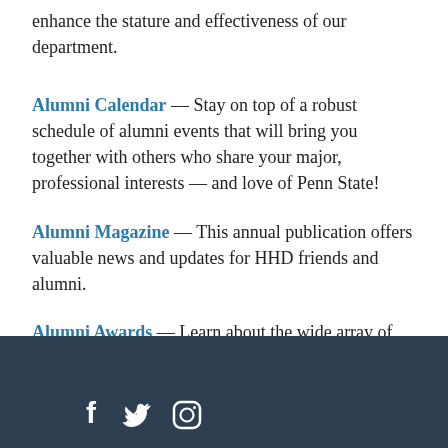enhance the stature and effectiveness of our department.
Alumni Calendar — Stay on top of a robust schedule of alumni events that will bring you together with others who share your major, professional interests — and love of Penn State!
Alumni Magazine — This annual publication offers valuable news and updates for HHD friends and alumni.
Alumni Awards — Learn about the wide array of impressive accomplishments of your HHD peers or nominate an alumnus/a for an award.
[Figure (other): Dark navy footer bar with white social media icons (Facebook, Twitter, Instagram)]